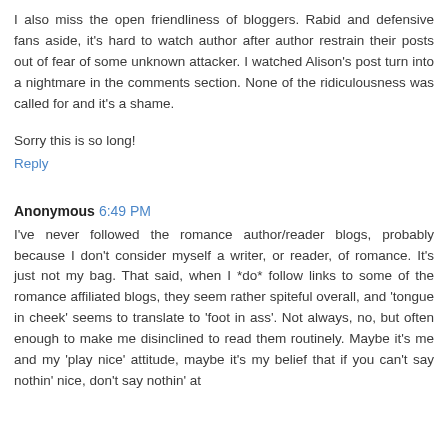I also miss the open friendliness of bloggers. Rabid and defensive fans aside, it's hard to watch author after author restrain their posts out of fear of some unknown attacker. I watched Alison's post turn into a nightmare in the comments section. None of the ridiculousness was called for and it's a shame.
Sorry this is so long!
Reply
Anonymous 6:49 PM
I've never followed the romance author/reader blogs, probably because I don't consider myself a writer, or reader, of romance. It's just not my bag. That said, when I *do* follow links to some of the romance affiliated blogs, they seem rather spiteful overall, and 'tongue in cheek' seems to translate to 'foot in ass'. Not always, no, but often enough to make me disinclined to read them routinely. Maybe it's me and my 'play nice' attitude, maybe it's my belief that if you can't say nothin' nice, don't say nothin' at